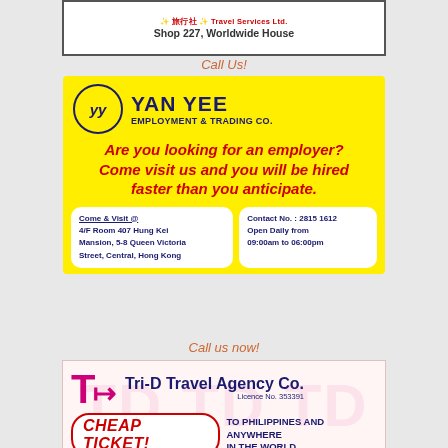[Figure (logo): Top banner with Travel Services logo, Chinese text, and Shop 227 Worldwide House address]
Call Us!
[Figure (infographic): Yan Yee Employment & Trading Co. advertisement on yellow background. Includes YY logo, slogan 'Are you looking for an employer? Come visit us and you will be hired faster than you anticipate.' Address: 4/F Room 407 Hung Kei Mansion, 5-8 Queen Victoria Street, Central, Hong Kong. Contact No.: 2815 1612, Open Daily from 09:00am to 06:00pm.]
Call us now!
[Figure (infographic): Tri-D Travel Agency Co. advertisement on light pink background. Licence No. 353391. Cheap Ticket! To Philippines and Anywhere in the World. Includes logo with stylized TD letters and airplane illustration.]